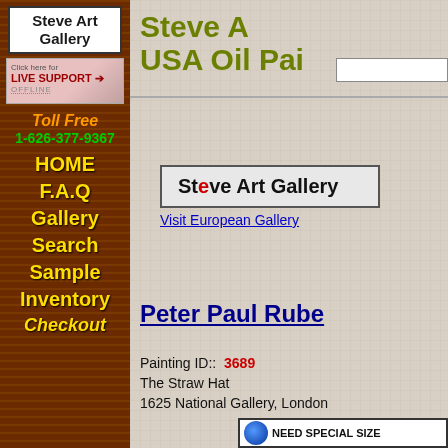[Figure (logo): Steve Art Gallery logo in white box with bold text]
[Figure (screenshot): Live support banner - Click here for LIVE SUPPORT, OFFLINE]
Toll Free
1-626-377-9367
HOME
F.A.Q
Gallery
Search
Sample
Inventory
Checkout
Steve A... USA Oil Pai...
[Figure (logo): Steve Art Gallery logo box with bold text, 'e' in Steve highlighted red]
Visit European Gallery
Peter Paul Rube...
Painting ID::  3689
The Straw Hat
1625 National Gallery, London
[Figure (infographic): Globe icon with NEED SPECIAL SIZE text bar at bottom]